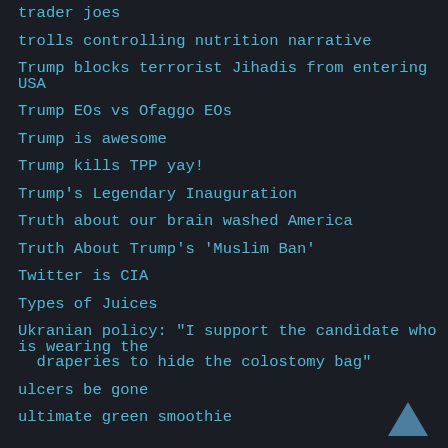trader joes
trolls controlling nutrition narrative
Trump blocks terrorist Jihadis from entering USA
Trump EOs vs Ofaggo EOs
Trump is awesome
Trump kills TPP yay!
Trump's Legendary Inauguration
Truth about our brain washed America
Truth About Trump's 'Muslim Ban'
Twitter is CIA
Types of Juices
Ukranian policy: "I support the candidate who is wearing the draperies to hide the colostomy bag"
ulcers be gone
ultimate green smoothie